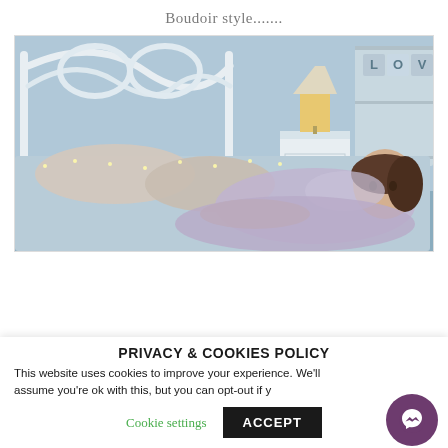Boudoir style.......
[Figure (photo): Boudoir style photo of a woman lying on a bed with fairy lights, decorative pillows, a white iron headboard, a bedside lamp, and a shelf with 'LOVE' letters in the background.]
PRIVACY & COOKIES POLICY
This website uses cookies to improve your experience. We'll assume you're ok with this, but you can opt-out if y
Cookie settings   ACCEPT